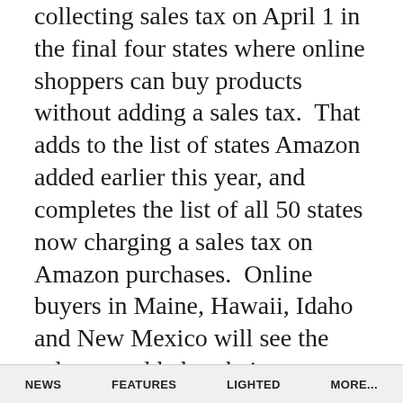collecting sales tax on April 1 in the final four states where online shoppers can buy products without adding a sales tax.  That adds to the list of states Amazon added earlier this year, and completes the list of all 50 states now charging a sales tax on Amazon purchases.  Online buyers in Maine, Hawaii, Idaho and New Mexico will see the sales tax added to their purchases.

Since 2012, Amazon has been a supporter of the Marketplace Fairness Act, which levels the playing field between brick and mortar businesses and online businesses that do not have to charge a sales tax.  If an online retailer
NEWS   FEATURES   LIGHTED   MORE...